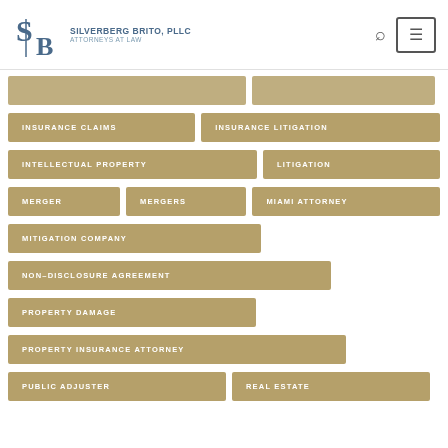[Figure (logo): Silverberg Brito, PLLC Attorneys at Law logo with SB monogram]
INSURANCE CLAIMS
INSURANCE LITIGATION
INTELLECTUAL PROPERTY
LITIGATION
MERGER
MERGERS
MIAMI ATTORNEY
MITIGATION COMPANY
NON–DISCLOSURE AGREEMENT
PROPERTY DAMAGE
PROPERTY INSURANCE ATTORNEY
PUBLIC ADJUSTER
REAL ESTATE